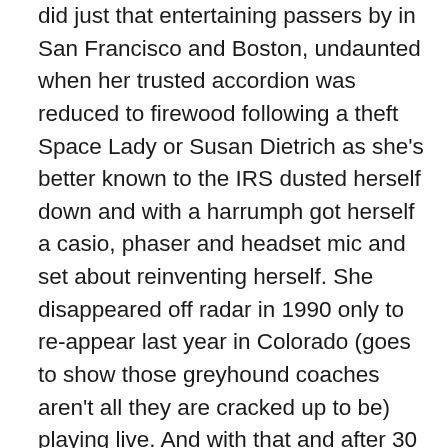did just that entertaining passers by in San Francisco and Boston, undaunted when her trusted accordion was reduced to firewood following a theft Space Lady or Susan Dietrich as she's better known to the IRS dusted herself down and with a harrumph got herself a casio, phaser and headset mic and set about reinventing herself. She disappeared off radar in 1990 only to re-appear last year in Colorado (goes to show those greyhound coaches aren't all they are cracked up to be) playing live. And with that and after 30 years playing she is now at last graced with an official release of her work. On a limited 7 inch outing via night school and arriving pressed up on black litho print with silver pantone ink 'major Tom' sees the first attempts at marketing the Space Lady to a wider audience backed by 'radar love' the single will be hotly pursued by 'the space lady's greatest hits' – as it says on the tin a collection of familiar gems pulled from her extensive